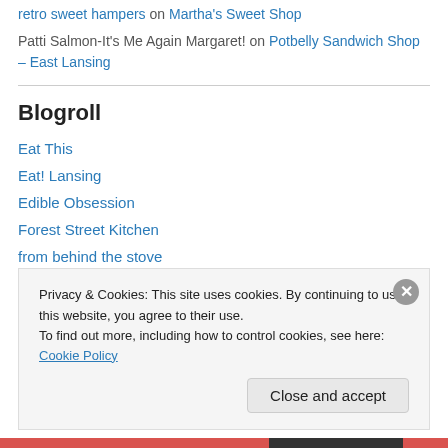retro sweet hampers on Martha's Sweet Shop
Patti Salmon-It's Me Again Margaret! on Potbelly Sandwich Shop – East Lansing
Blogroll
Eat This
Eat! Lansing
Edible Obsession
Forest Street Kitchen
from behind the stove
Good Food Hunting
Lansing Food News
Privacy & Cookies: This site uses cookies. By continuing to use this website, you agree to their use. To find out more, including how to control cookies, see here: Cookie Policy
Close and accept